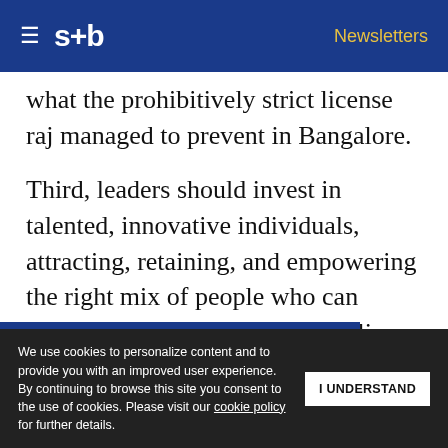s+b | Newsletters
what the prohibitively strict license raj managed to prevent in Bangalore.
Third, leaders should invest in talented, innovative individuals, attracting, retaining, and empowering the right mix of people who can foster serial innovation. Both Silicon Valley and Bangalore benefited from having large ... gifted ... other places sometimes have
Get s+b's award-winning newsletter delivered to your inbox.
We use cookies to personalize content and to provide you with an improved user experience. By continuing to browse this site you consent to the use of cookies. Please visit our cookie policy for further details.